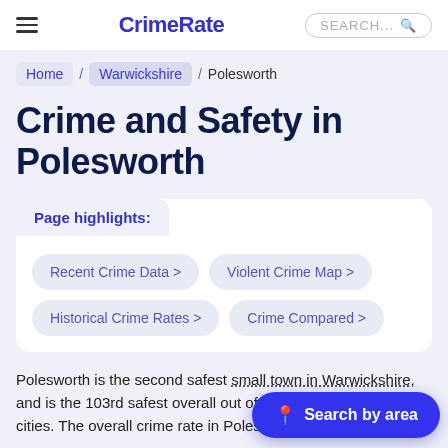CrimeRate
Home / Warwickshire / Polesworth
Crime and Safety in Polesworth
Page highlights:
Recent Crime Data >
Violent Crime Map >
Historical Crime Rates >
Crime Compared >
Polesworth is the second safest small town in Warwickshire, and is the 103rd safest overall out of Warwickshire towns and cities. The overall crime rate in Polesworth in 2021 was 40